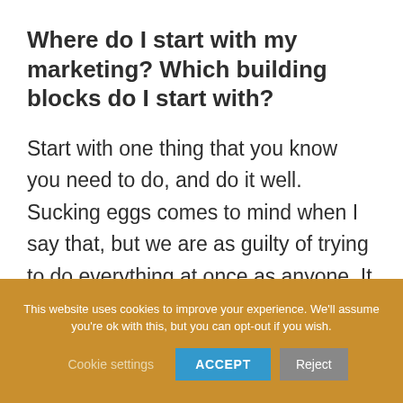Where do I start with my marketing? Which building blocks do I start with?
Start with one thing that you know you need to do, and do it well. Sucking eggs comes to mind when I say that, but we are as guilty of trying to do everything at once as anyone. It pays to do things logically
This website uses cookies to improve your experience. We'll assume you're ok with this, but you can opt-out if you wish.